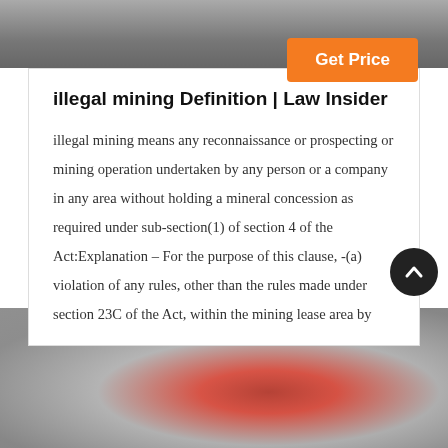[Figure (photo): Top portion of an image showing a mining or industrial area with equipment on a grey floor]
illegal mining Definition | Law Insider
illegal mining means any reconnaissance or prospecting or mining operation undertaken by any person or a company in any area without holding a mineral concession as required under sub-section(1) of section 4 of the Act:Explanation – For the purpose of this clause, -(a) violation of any rules, other than the rules made under section 23C of the Act, within the mining lease area by
[Figure (photo): Bottom image showing industrial mining machinery with large red and white wheel/flywheel components in a factory setting]